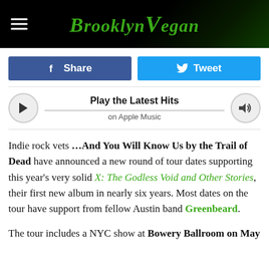BrooklynVegan
[Figure (other): Facebook Share button and Twitter Tweet button side by side]
[Figure (other): Apple Music player widget with play button, 'Play the Latest Hits' title, 'on Apple Music' subtitle, progress bar, and volume button]
Indie rock vets …And You Will Know Us by the Trail of Dead have announced a new round of tour dates supporting this year's very solid X: The Godless Void and Other Stories, their first new album in nearly six years. Most dates on the tour have support from fellow Austin band Greenbeard.
The tour includes a NYC show at Bowery Ballroom on May